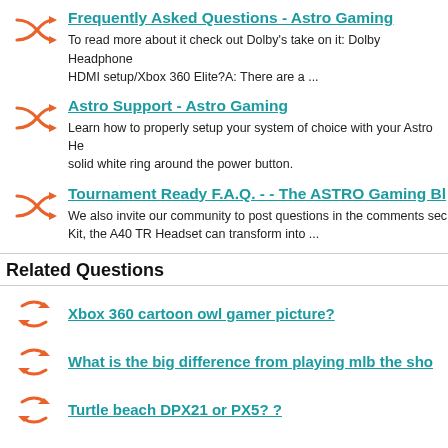Frequently Asked Questions - Astro Gaming
To read more about it check out Dolby's take on it: Dolby Headphone HDMI setup/Xbox 360 Elite?A: There are a ...
Astro Support - Astro Gaming
Learn how to properly setup your system of choice with your Astro He solid white ring around the power button.
Tournament Ready F.A.Q. - - The ASTRO Gaming Bl
We also invite our community to post questions in the comments sec Kit, the A40 TR Headset can transform into ...
Related Questions
Xbox 360 cartoon owl gamer picture?
What is the big difference from playing mlb the sho
Turtle beach DPX21 or PX5? ?